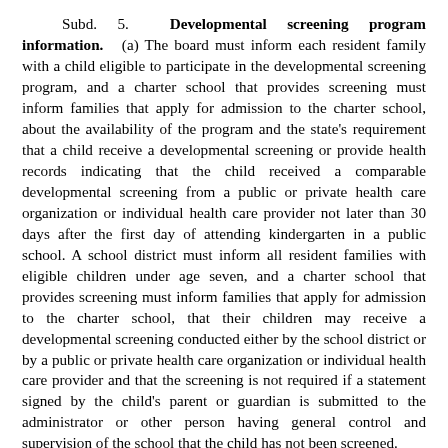Subd. 5. Developmental screening program information. (a) The board must inform each resident family with a child eligible to participate in the developmental screening program, and a charter school that provides screening must inform families that apply for admission to the charter school, about the availability of the program and the state's requirement that a child receive a developmental screening or provide health records indicating that the child received a comparable developmental screening from a public or private health care organization or individual health care provider not later than 30 days after the first day of attending kindergarten in a public school. A school district must inform all resident families with eligible children under age seven, and a charter school that provides screening must inform families that apply for admission to the charter school, that their children may receive a developmental screening conducted either by the school district or by a public or private health care organization or individual health care provider and that the screening is not required if a statement signed by the child's parent or guardian is submitted to the administrator or other person having general control and supervision of the school that the child has not been screened.